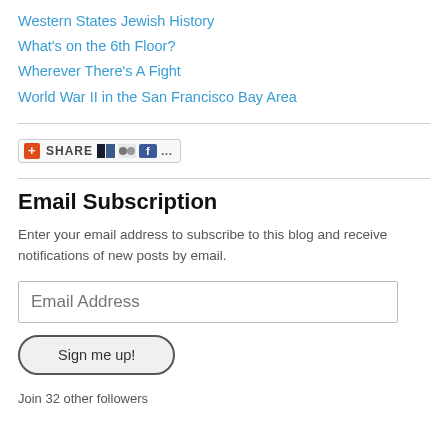Western States Jewish History
What's on the 6th Floor?
Wherever There's A Fight
World War II in the San Francisco Bay Area
[Figure (other): Share button with social media icons (AddThis share button with del.icio.us, MySpace, Facebook icons and ellipsis)]
Email Subscription
Enter your email address to subscribe to this blog and receive notifications of new posts by email.
Email Address
Sign me up!
Join 32 other followers